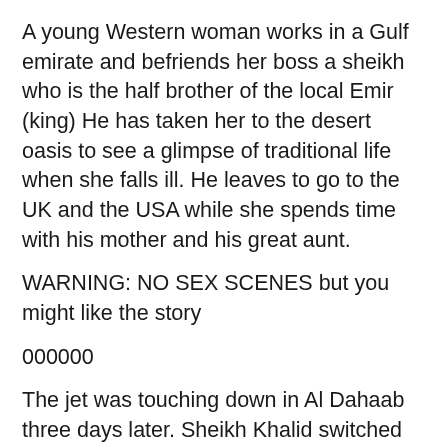A young Western woman works in a Gulf emirate and befriends her boss a sheikh who is the half brother of the local Emir (king) He has taken her to the desert oasis to see a glimpse of traditional life when she falls ill. He leaves to go to the UK and the USA while she spends time with his mother and his great aunt.
WARNING: NO SEX SCENES but you might like the story
000000
The jet was touching down in Al Dahaab three days later. Sheikh Khalid switched on his phone while they were taxiing. Immediately it started to beep like a morse code. That was odd. He looked at the dozen of whatssapp messages. Something urgent from Omar. From the office. From his brother. What was going on?